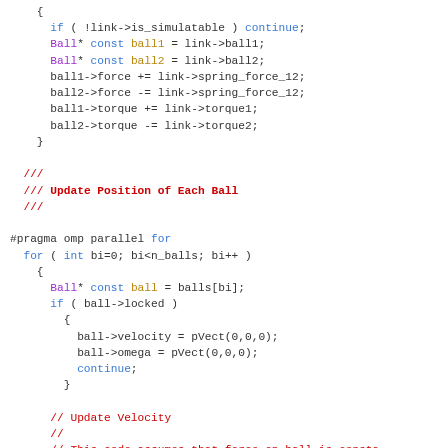Code snippet showing C++ physics simulation code with ball force/torque updates, parallel loop for position update, and velocity update comments